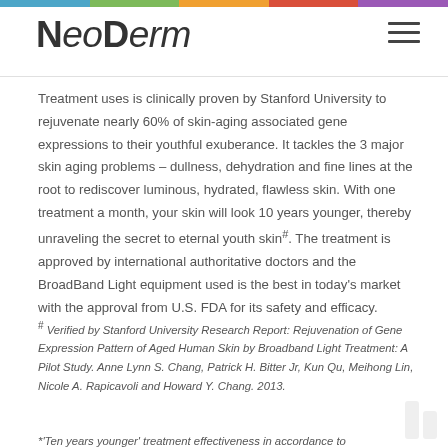NeoDerm
Treatment uses is clinically proven by Stanford University to rejuvenate nearly 60% of skin-aging associated gene expressions to their youthful exuberance. It tackles the 3 major skin aging problems – dullness, dehydration and fine lines at the root to rediscover luminous, hydrated, flawless skin. With one treatment a month, your skin will look 10 years younger, thereby unraveling the secret to eternal youth skin*. The treatment is approved by international authoritative doctors and the BroadBand Light equipment used is the best in today's market with the approval from U.S. FDA for its safety and efficacy.
# Verified by Stanford University Research Report: Rejuvenation of Gene Expression Pattern of Aged Human Skin by Broadband Light Treatment: A Pilot Study. Anne Lynn S. Chang, Patrick H. Bitter Jr, Kun Qu, Meihong Lin, Nicole A. Rapicavoli and Howard Y. Chang. 2013.
*'Ten years younger' treatment effectiveness in accordance to